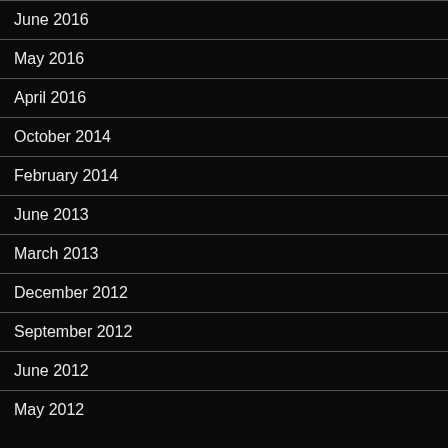June 2016
May 2016
April 2016
October 2014
February 2014
June 2013
March 2013
December 2012
September 2012
June 2012
May 2012